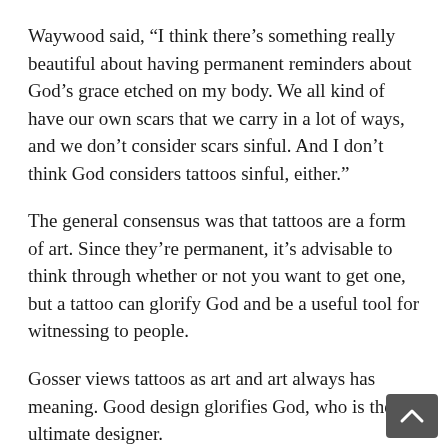Waywood said, “I think there’s something really beautiful about having permanent reminders about God’s grace etched on my body. We all kind of have our own scars that we carry in a lot of ways, and we don’t consider scars sinful. And I don’t think God considers tattoos sinful, either.”
The general consensus was that tattoos are a form of art. Since they’re permanent, it’s advisable to think through whether or not you want to get one, but a tattoo can glorify God and be a useful tool for witnessing to people.
Gosser views tattoos as art and art always has meaning. Good design glorifies God, who is the ultimate designer.
Gosser said, “We create because we are placed here as tenders of this garden, that’s our whole purpose. That was the original purpose in us, cultivating. And how do we cultivate but through design? We do this everywhere, a kind of aesthetic undertaking is a part of the initial purpose